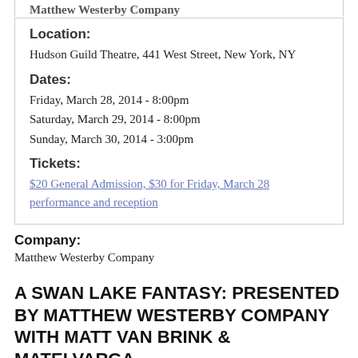Location:
Hudson Guild Theatre, 441 West Street, New York, NY
Dates:
Friday, March 28, 2014 - 8:00pm
Saturday, March 29, 2014 - 8:00pm
Sunday, March 30, 2014 - 3:00pm
Tickets:
$20 General Admission, $30 for Friday, March 28 performance and reception
Company:
Matthew Westerby Company
A SWAN LAKE FANTASY: PRESENTED BY MATTHEW WESTERBY COMPANY WITH MATT VAN BRINK & MATELVARGA